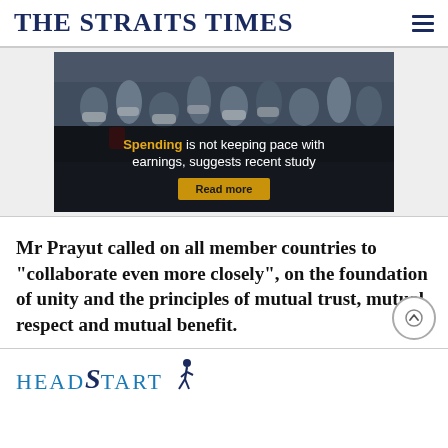THE STRAITS TIMES
[Figure (photo): Banner advertisement showing a crowd of people wearing masks with overlaid text: 'Spending is not keeping pace with earnings, suggests recent study' and a 'Read more' button]
Mr Prayut called on all member countries to "collaborate even more closely", on the foundation of unity and the principles of mutual trust, mutual respect and mutual benefit.
[Figure (logo): HeadStart logo with stylized text and walking figure icon]